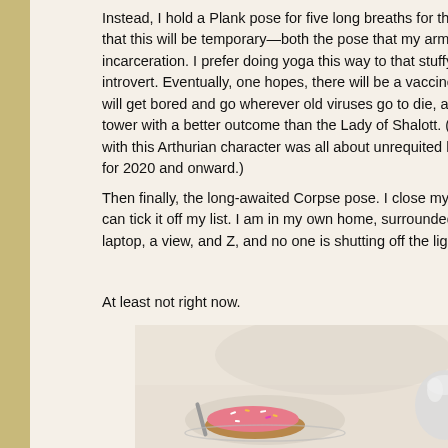Instead, I hold a Plank pose for five long breaths for the that this will be temporary—both the pose that my arms incarceration. I prefer doing yoga this way to that stuffy introvert. Eventually, one hopes, there will be a vaccine o will get bored and go wherever old viruses go to die, and tower with a better outcome than the Lady of Shalott. (h with this Arthurian character was all about unrequited lo for 2020 and onward.)
Then finally, the long-awaited Corpse pose. I close my e can tick it off my list. I am in my own home, surrounded laptop, a view, and Z, and no one is shutting off the light.
At least not right now.
[Figure (photo): A photo showing a pink frosted cookie with sprinkles on a plate, partially visible, along with what appears to be a small white teapot or creamer on a light surface.]